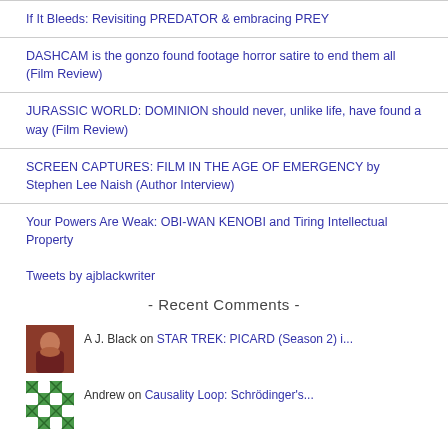If It Bleeds: Revisiting PREDATOR & embracing PREY
DASHCAM is the gonzo found footage horror satire to end them all (Film Review)
JURASSIC WORLD: DOMINION should never, unlike life, have found a way (Film Review)
SCREEN CAPTURES: FILM IN THE AGE OF EMERGENCY by Stephen Lee Naish (Author Interview)
Your Powers Are Weak: OBI-WAN KENOBI and Tiring Intellectual Property
Tweets by ajblackwriter
- Recent Comments -
A J. Black on STAR TREK: PICARD (Season 2) i...
Andrew on Causality Loop: Schrödinger's...